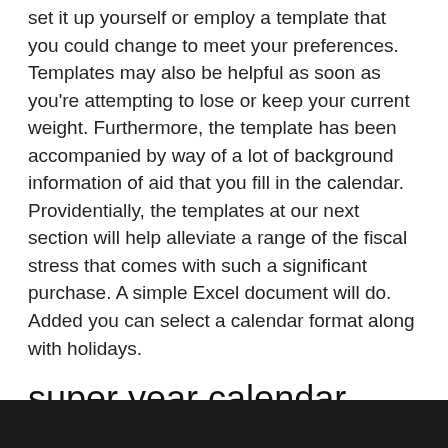set it up yourself or employ a template that you could change to meet your preferences. Templates may also be helpful as soon as you're attempting to lose or keep your current weight. Furthermore, the template has been accompanied by way of a lot of background information of aid that you fill in the calendar. Providentially, the templates at our next section will help alleviate a range of the fiscal stress that comes with such a significant purchase. A simple Excel document will do. Added you can select a calendar format along with holidays.
super year calendar kickstarter
[Figure (photo): Dark/black image strip at the bottom of the page, partially visible]